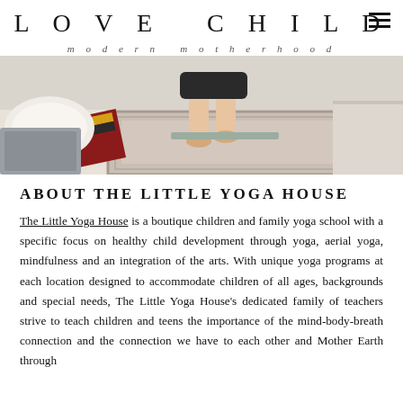LOVE CHILD  modern motherhood
[Figure (photo): A person standing on a yoga mat in a room with colorful pillows and rugs, viewed from above at an angle.]
ABOUT THE LITTLE YOGA HOUSE
The Little Yoga House is a boutique children and family yoga school with a specific focus on healthy child development through yoga, aerial yoga, mindfulness and an integration of the arts. With unique yoga programs at each location designed to accommodate children of all ages, backgrounds and special needs, The Little Yoga House's dedicated family of teachers strive to teach children and teens the importance of the mind-body-breath connection and the connection we have to each other and Mother Earth through